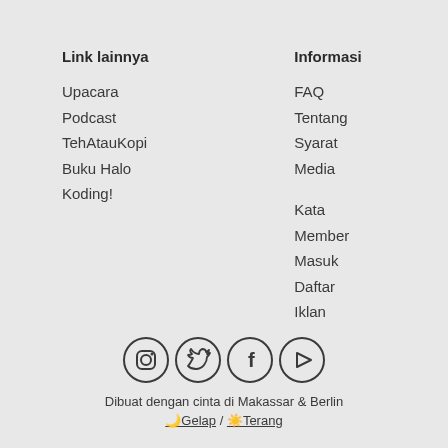Link lainnya
Upacara
Podcast
TehAtauKopi
Buku Halo
Koding!
Informasi
FAQ
Tentang
Syarat
Media
Kata
Member
Masuk
Daftar
Iklan
[Figure (illustration): Four social media icons in circles: Instagram, Twitter, Facebook, YouTube/Play]
Dibuat dengan cinta di Makassar & Berlin
🌙Gelap / ☀️Terang